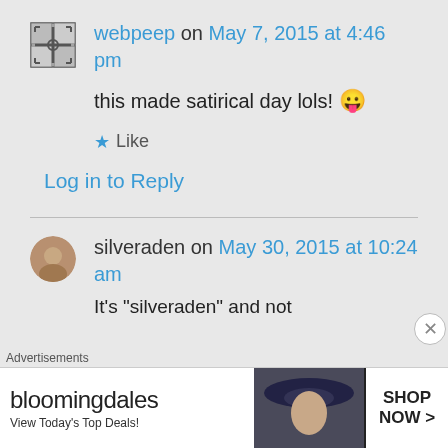webpeep on May 7, 2015 at 4:46 pm
this made satirical day lols! 😛
★ Like
Log in to Reply
silveraden on May 30, 2015 at 10:24 am
It's "silveraden" and not
[Figure (infographic): Bloomingdale's advertisement banner: 'View Today's Top Deals!' with SHOP NOW > button and image of woman with hat]
Advertisements